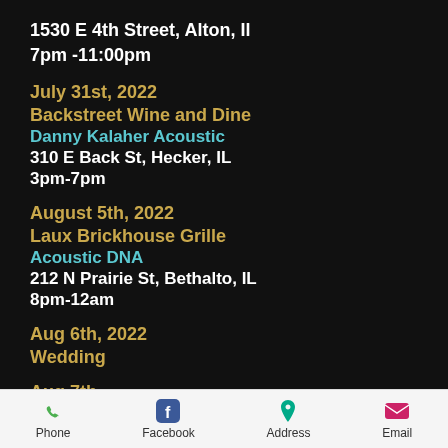1530 E 4th Street, Alton,  Il
7pm -11:00pm
July 31st, 2022
Backstreet Wine and Dine
Danny Kalaher Acoustic
310 E Back St, Hecker, IL
3pm-7pm
August 5th, 2022
Laux Brickhouse Grille
Acoustic DNA
212 N Prairie St, Bethalto, IL
8pm-12am
Aug 6th,  2022
Wedding
Phone  Facebook  Address  Email